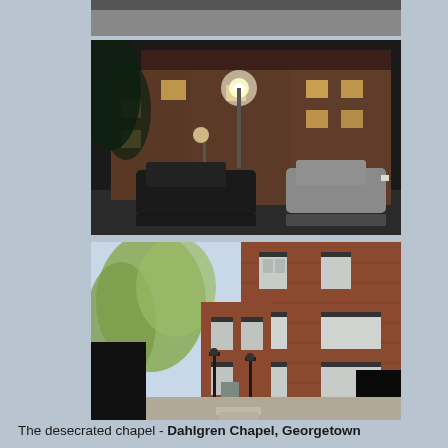[Figure (photo): Partial view of a building exterior, cropped at top of page]
[Figure (photo): Night-time photograph of a red brick building exterior with lit windows, two cars parked in front, a street lamp illuminated, and trees visible]
[Figure (photo): Daytime photograph of a red brick multi-story building with black shutters, a small courtyard with lamp posts and iron railing, trees visible on the left]
The desecrated chapel - Dahlgren Chapel, Georgetown